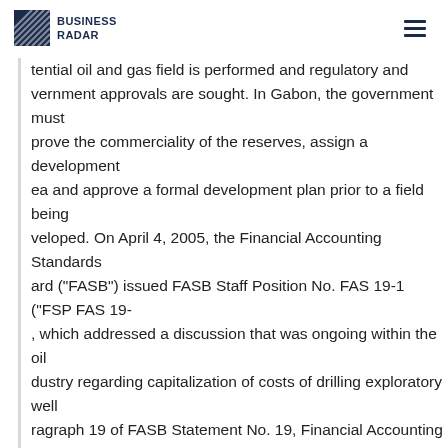BUSINESS RADAR
tential oil and gas field is performed and regulatory andvernment approvals are sought. In Gabon, the government must prove the commerciality of the reserves, assign a development ea and approve a formal development plan prior to a field being veloped. On April 4, 2005, the Financial Accounting Standards ard ("FASB") issued FASB Staff Position No. FAS 19-1 ("FSP FAS 19-, which addressed a discussion that was ongoing within the oil dustry regarding capitalization of costs of drilling exploratory well ragraph 19 of FASB Statement No. 19, Financial Accounting and porting by Oil and Gas Producing Companies ("FASB No. 19"), quires costs of drilling exploratory wells to be capitalized pending termination of whether the well has found proved reserves. If the ll has found proved reserves, the capitalized costs become part c e entity's wells, equipment, and facilities. If, however, the well has t found proved reserves, the capitalized costs of drilling the well a pensed. Questions arose in practice about the application of this